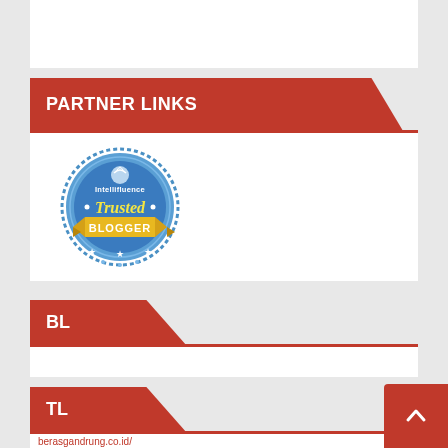PARTNER LINKS
[Figure (logo): Intellifluence Trusted Blogger badge — circular blue badge with gold ribbon and 'BLOGGER' text]
BL
TL
berasgandrung.co.id/